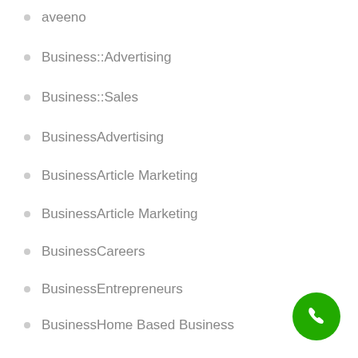aveeno
Business::Advertising
Business::Sales
BusinessAdvertising
BusinessArticle Marketing
BusinessArticle Marketing
BusinessCareers
BusinessEntrepreneurs
BusinessHome Based Business
BusinessHome Based Business
BusinessMarketing
BusinessSales